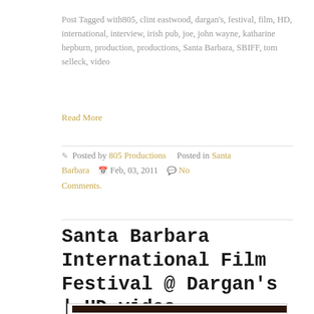Post Tagged with805, clint eastwood, dargan's, festival, film, HD, international, interview, irish pub, joe, john wayne, katharine hepburn, production, productions, Santa Barbara, SBIFF, tom selleck, video
Read More
Posted by 805 Productions   Posted in Santa Barbara   Feb, 03, 2011   No Comments.
Santa Barbara International Film Festival @ Dargan's | HD video
[Figure (photo): Dark thumbnail image at the bottom of the page, appears to be a video thumbnail with dark reddish/brown tones]